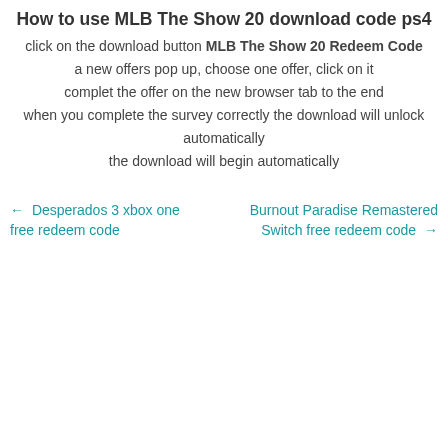How to use MLB The Show 20 download code ps4
click on the download button MLB The Show 20 Redeem Code
a new offers pop up, choose one offer, click on it
complet the offer on the new browser tab to the end
when you complete the survey correctly the download will unlock automatically
the download will begin automatically
← Desperados 3 xbox one free redeem code
Burnout Paradise Remastered Switch free redeem code →